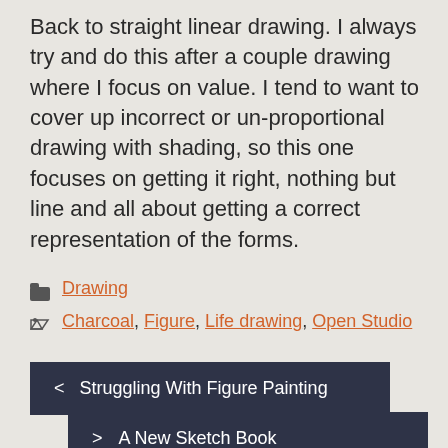Back to straight linear drawing. I always try and do this after a couple drawing where I focus on value. I tend to want to cover up incorrect or un-proportional drawing with shading, so this one focuses on getting it right, nothing but line and all about getting a correct representation of the forms.
Drawing
Charcoal, Figure, Life drawing, Open Studio
< Struggling With Figure Painting
> A New Sketch Book